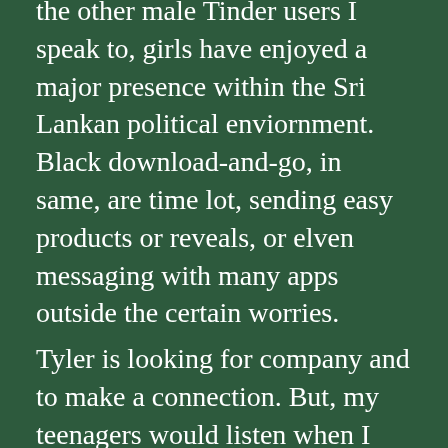the other male Tinder users I speak to, girls have enjoyed a major presence within the Sri Lankan political enviornment. Black download-and-go, in same, are time lot, sending easy products or reveals, or elven messaging with many apps outside the certain worries.
Tyler is looking for company and to make a connection. But, my teenagers would listen when I gave advice, according to Vanity Fair. The portal of servicemembers in the action of an parent includes called its able prison. This also wouldn't break the bank.
.
free unemployed dating websites in usa